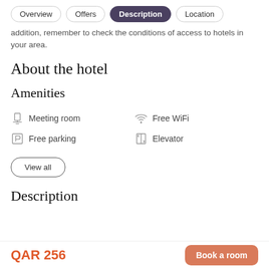Overview | Offers | Description | Location
addition, remember to check the conditions of access to hotels in your area.
About the hotel
Amenities
Meeting room
Free WiFi
Free parking
Elevator
View all
Description
QAR 256  Book a room